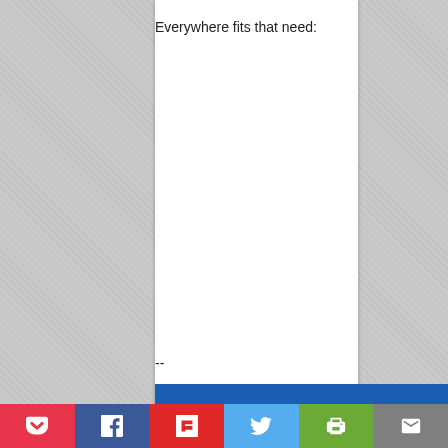Everywhere fits that need:
--
[Figure (screenshot): Social sharing bar with icons for Pocket (red), Facebook (blue), Flipboard (red), Twitter (light blue), Print (green), and Email (gray). A blue navigation bar appears above the social bar.]